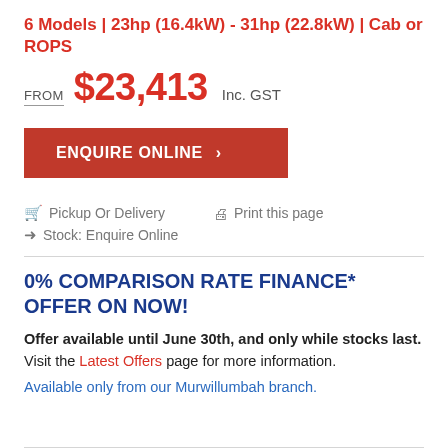6 Models | 23hp (16.4kW) - 31hp (22.8kW) | Cab or ROPS
FROM $23,413 Inc. GST
ENQUIRE ONLINE >
Pickup Or Delivery
Print this page
Stock: Enquire Online
0% COMPARISON RATE FINANCE* OFFER ON NOW!
Offer available until June 30th, and only while stocks last. Visit the Latest Offers page for more information. Available only from our Murwillumbah branch.